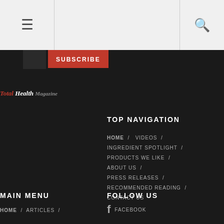Total Health Magazine website navigation screenshot
[Figure (screenshot): Subscribe button in red and Total Health Magazine logo]
TOP NAVIGATION
HOME / VIDEOS /
INGREDIENT SPOTLIGHT /
PRODUCTS WE LIKE /
ABOUT US /
PRESS RELEASES /
RECOMMENDED READING /
CONTACT US
MAIN MENU
HOME / ARTICLES /
FOLLOW US
FACEBOOK